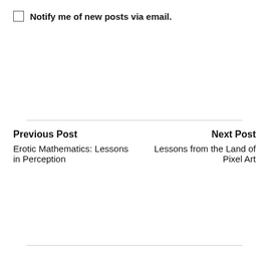Notify me of new posts via email.
Previous Post
Erotic Mathematics: Lessons in Perception
Next Post
Lessons from the Land of Pixel Art